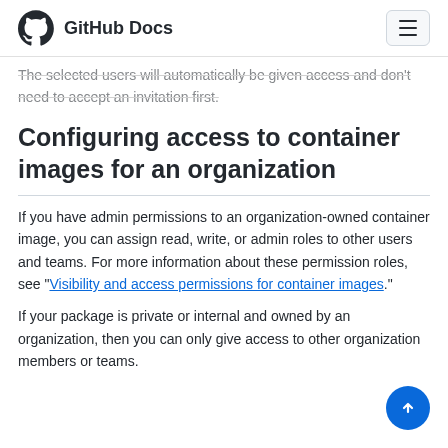GitHub Docs
The selected users will automatically be given access and don't need to accept an invitation first.
Configuring access to container images for an organization
If you have admin permissions to an organization-owned container image, you can assign read, write, or admin roles to other users and teams. For more information about these permission roles, see "Visibility and access permissions for container images".
If your package is private or internal and owned by an organization, then you can only give access to other organization members or teams.